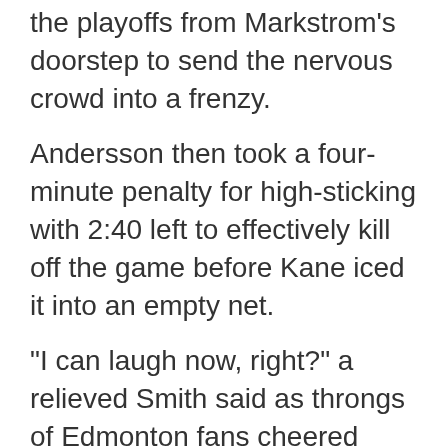the playoffs from Markstrom's doorstep to send the nervous crowd into a frenzy.
Andersson then took a four-minute penalty for high-sticking with 2:40 left to effectively kill off the game before Kane iced it into an empty net.
"I can laugh now, right?" a relieved Smith said as throngs of Edmonton fans cheered wildly on the street outside the Oilers Hall of Fame Room where the team conducts its media availabilities. "I don't think there's been a time in my career where I've lost the puck, where I have no idea where it went.
"You don't want that to happen ... ever. It was an unbelievable goal by Nuge at the end there ... a win is a win."